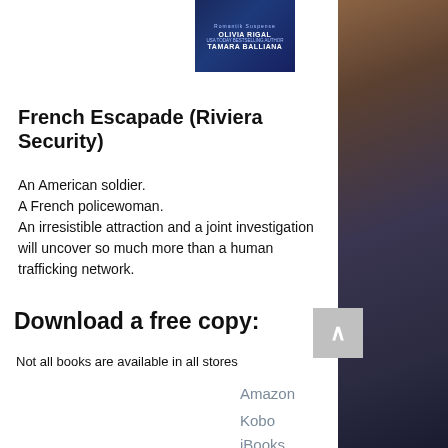[Figure (illustration): Book cover with dark blue background showing authors names: OLIVIA RIGAL and TAMARA BALLIANA, with small text 'Romantik Suspense' at top]
French Escapade (Riviera Security)
An American soldier.
A French policewoman.
An irresistible attraction and a joint investigation will uncover so much more than a human trafficking network.
Download a free copy:
Not all books are available in all stores
Amazon
Kobo
iBooks
Google Play